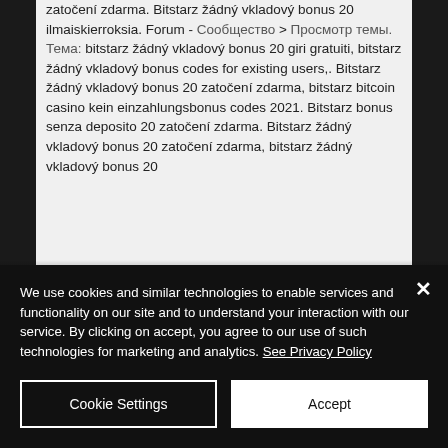zatočení zdarma. Bitstarz žádný vkladový bonus 20 ilmaiskierroksia. Forum - [cyrillic] &gt; [cyrillic] [cyrillic]. [cyrillic]: bitstarz žádný vkladový bonus 20 giri gratuiti, bitstarz žádný vkladový bonus codes for existing users,. Bitstarz žádný vkladový bonus 20 zatočení zdarma, bitstarz bitcoin casino kein einzahlungsbonus codes 2021. Bitstarz bonus senza deposito 20 zatočení zdarma. Bitstarz žádný vkladový bonus 20 zatočení zdarma, bitstarz žádný vkladový bonus 20
We use cookies and similar technologies to enable services and functionality on our site and to understand your interaction with our service. By clicking on accept, you agree to our use of such technologies for marketing and analytics. See Privacy Policy
Cookie Settings
Accept